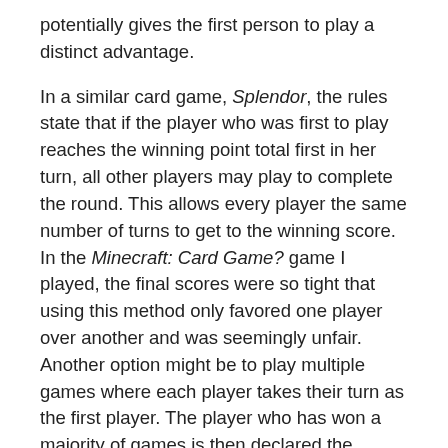potentially gives the first person to play a distinct advantage.
In a similar card game, Splendor, the rules state that if the player who was first to play reaches the winning point total first in her turn, all other players may play to complete the round. This allows every player the same number of turns to get to the winning score. In the Minecraft: Card Game? game I played, the final scores were so tight that using this method only favored one player over another and was seemingly unfair. Another option might be to play multiple games where each player takes their turn as the first player. The player who has won a majority of games is then declared the winner.